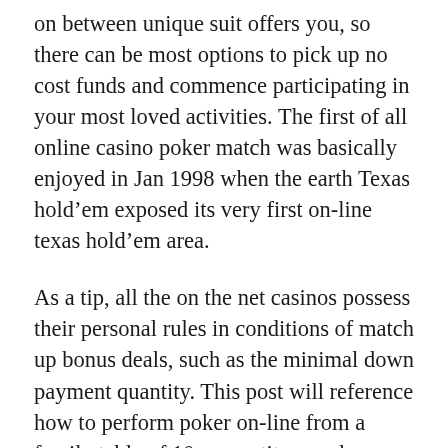on between unique suit offers you, so there can be most options to pick up no cost funds and commence participating in your most loved activities. The first of all online casino poker match was basically enjoyed in Jan 1998 when the earth Texas hold’em exposed its very first on-line texas hold’em area.
As a tip, all the on the net casinos possess their personal rules in conditions of match up bonus deals, such as the minimal down payment quantity. This post will reference how to perform poker on-line from a family table of 10 competitors and explore trying to play from the supplier, early, center and past due jobs. As a first of all timer to Gambling den Room or space, I identified the video games to end up being effortless to understand and enjoy. It enables the participant to forged their game on various screens through HDMI splitter. Permainan Judi QQ Online